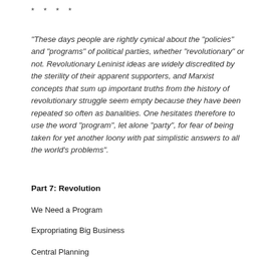* * * *
“These days people are rightly cynical about the “policies” and “programs” of political parties, whether “revolutionary” or not. Revolutionary Leninist ideas are widely discredited by the sterility of their apparent supporters, and Marxist concepts that sum up important truths from the history of revolutionary struggle seem empty because they have been repeated so often as banalities. One hesitates therefore to use the word “program”, let alone “party”, for fear of being taken for yet another loony with pat simplistic answers to all the world’s problems”.
Part 7: Revolution
We Need a Program
Expropriating Big Business
Central Planning